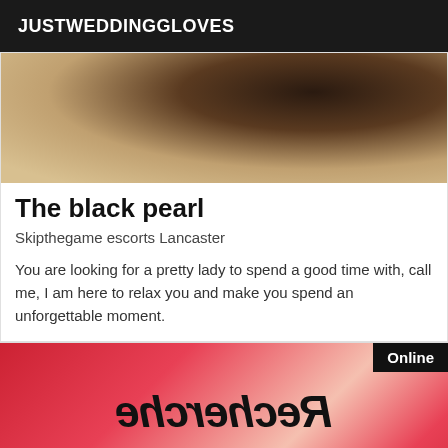JUSTWEDDINGGLOVES
[Figure (photo): Close-up photo of a person, dark-skinned, torso area, warm background]
The black pearl
Skipthegame escorts Lancaster
You are looking for a pretty lady to spend a good time with, call me, I am here to relax you and make you spend an unforgettable moment.
[Figure (illustration): Red gradient background image with mirrored/reversed decorative script text reading 'Recherche' and below it '25' or similar, with an 'Online' badge in the top right corner]